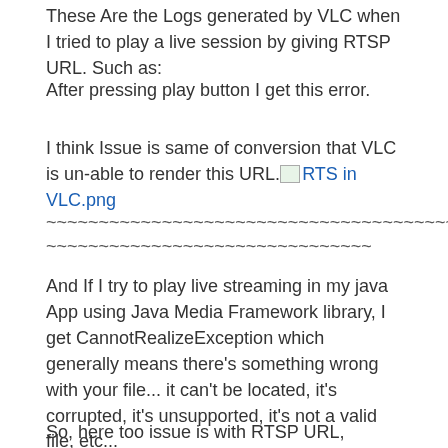These Are the Logs generated by VLC when I tried to play a live session by giving RTSP URL. Such as:
After pressing play button I get this error.
I think Issue is same of conversion that VLC is un-able to render this URL. [RTS in VLC.png]
~~~~~~~~~~~~~~~~~~~~~~~~~~~~~~~~~~~~~~~~~~~~~~~~~~~~~~~~~~~~~~~~
And If I try to play live streaming in my java App using Java Media Framework library, I get CannotRealizeException which generally means there's something wrong with your file... it can't be located, it's corrupted, it's unsupported, it's not a valid file, etc...
So, here too issue is with RTSP URL,